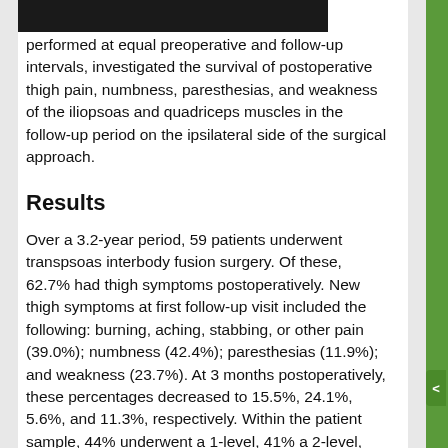th [redacted] performed at equal preoperative and follow-up intervals, investigated the survival of postoperative thigh pain, numbness, paresthesias, and weakness of the iliopsoas and quadriceps muscles in the follow-up period on the ipsilateral side of the surgical approach.
Results
Over a 3.2-year period, 59 patients underwent transpsoas interbody fusion surgery. Of these, 62.7% had thigh symptoms postoperatively. New thigh symptoms at first follow-up visit included the following: burning, aching, stabbing, or other pain (39.0%); numbness (42.4%); paresthesias (11.9%); and weakness (23.7%). At 3 months postoperatively, these percentages decreased to 15.5%, 24.1%, 5.6%, and 11.3%, respectively. Within the patient sample, 44% underwent a 1-level, 41% a 2-level, and 15% a 3-level transpsoas operation. While not statistically significant, thigh pain, numbness, and weakness were most prevalent after L4–5 transpsoas